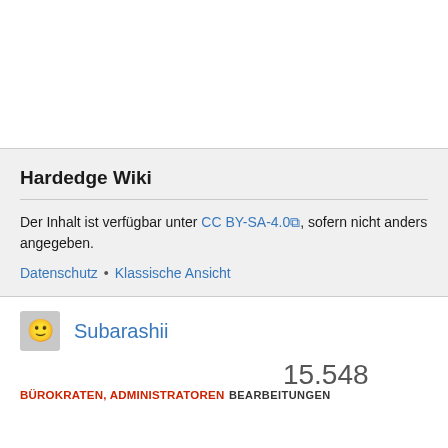Hardedge Wiki
Der Inhalt ist verfügbar unter CC BY-SA-4.0, sofern nicht anders angegeben.
Datenschutz • Klassische Ansicht
Subarashii
BÜROKRATEN, ADMINISTRATOREN
15.548 BEARBEITUNGEN